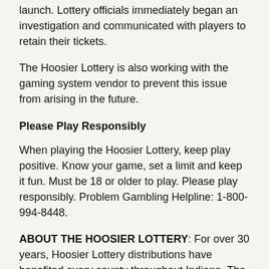launch. Lottery officials immediately began an investigation and communicated with players to retain their tickets.
The Hoosier Lottery is also working with the gaming system vendor to prevent this issue from arising in the future.
Please Play Responsibly
When playing the Hoosier Lottery, keep play positive. Know your game, set a limit and keep it fun. Must be 18 or older to play. Please play responsibly. Problem Gambling Helpline: 1-800-994-8448.
ABOUT THE HOOSIER LOTTERY: For over 30 years, Hoosier Lottery distributions have benefited every county throughout Indiana. The Hoosier Lottery has contributed more than $6.3 billion to good causes, including $30 million to local police and firefighters' pensions and $30 million to the Teachers' Retirement Fund annually. To learn more about the Hoosier